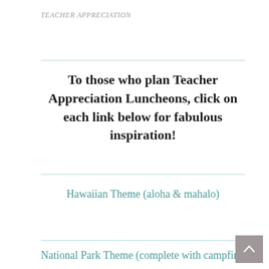TEACHER APPRECIATION
To those who plan Teacher Appreciation Luncheons, click on each link below for fabulous inspiration!
Hawaiian Theme (aloha & mahalo)
National Park Theme (complete with campfire